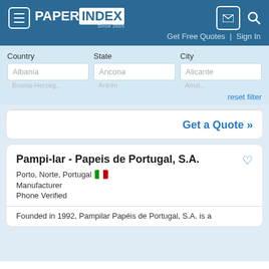PAPER INDEX Since 2005
Get Free Quotes | Sign In
Country: Albania  State: Ancona  City: Alicante
reset filter
Get a Quote »
Pampi-lar - Papeis de Portugal, S.A.
Porto, Norte, Portugal
Manufacturer
Phone Verified
Founded in 1992, Pampilar Papéis de Portugal, S.A. is a